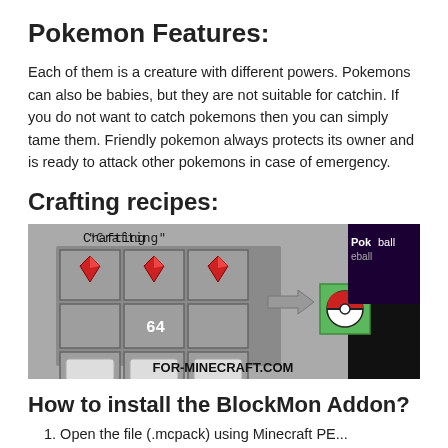Pokemon Features:
Each of them is a creature with different powers. Pokemons can also be babies, but they are not suitable for catchin. If you do not want to catch pokemons then you can simply tame them. Friendly pokemon always protects its owner and is ready to attack other pokemons in case of emergency.
Crafting recipes:
[Figure (screenshot): Minecraft crafting table recipe screenshot showing three red gems in top row, 64 in middle center, three white ingots in bottom row, arrow pointing to a Pokeball item with green background. Watermark FOR-MINECRAFT.COM visible. Pokeball tooltip shown.]
How to install the BlockMon Addon?
1. Open the file (.mcpack) using Minecraft PE...